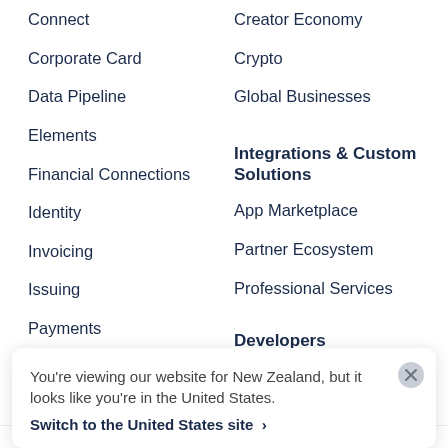Connect
Creator Economy
Corporate Card
Crypto
Data Pipeline
Global Businesses
Elements
Integrations & Custom Solutions
Financial Connections
Identity
App Marketplace
Invoicing
Partner Ecosystem
Issuing
Professional Services
Payments
Payment Links
Payouts
Developers
Pricing
You're viewing our website for New Zealand, but it looks like you're in the United States.
Switch to the United States site ›
API Changelog